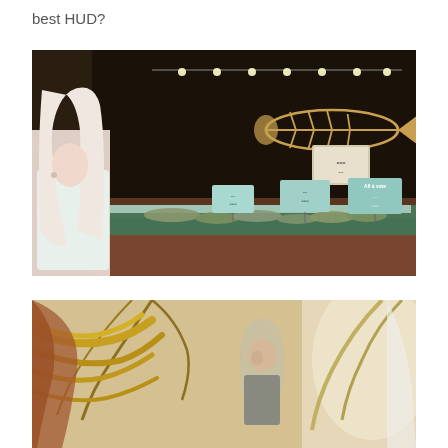best HUD?
[Figure (screenshot): 3D video game or virtual world screenshot showing a female avatar with long white/blonde hair wearing a white outfit, standing at a fish market counter with various fish displayed on ice, price signs, string lights, and a decorative fish skeleton on the dark wall behind.]
[Figure (screenshot): 3D video game or virtual world screenshot showing a female avatar in a tropical setting with palm fronds, golden light, and another character visible in the background.]